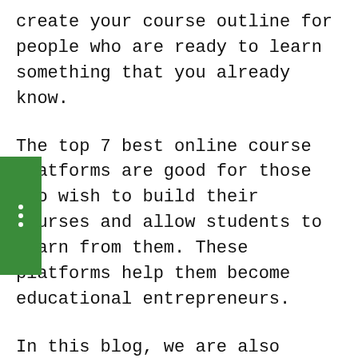create your course outline for people who are ready to learn something that you already know.
The top 7 best online course platforms are good for those who wish to build their courses and allow students to learn from them. These platforms help them become educational entrepreneurs.
In this blog, we are also going to talk to students. If you are a student and looking for the best online course platform to learn new skills and technology, we have listed some of the best down below.
What Are Online Course